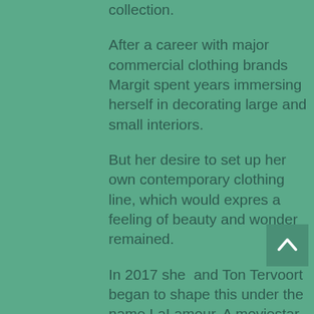collection.
After a career with major commercial clothing brands Margit spent years immersing herself in decorating large and small interiors.
But her desire to set up her own contemporary clothing line, which would expres a feeling of beauty and wonder remained.
In 2017 she  and Ton Tervoort began to shape this under the name LaLamour. A moviestar from the 1940's whose nickname begame LaLamour.